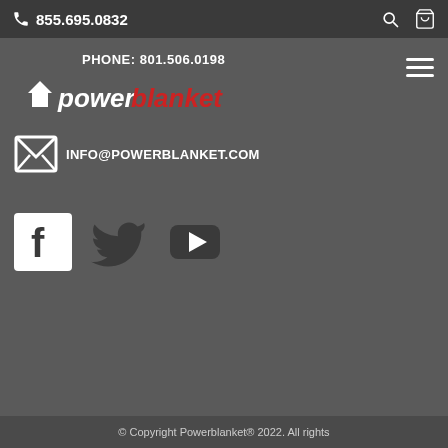855.695.0832
PHONE: 801.506.0198
[Figure (logo): Powerblanket logo in red and white stylized text]
INFO@POWERBLANKET.COM
[Figure (infographic): Social media icons: Facebook, Twitter, YouTube]
© Copyright Powerblanket® 2022. All rights